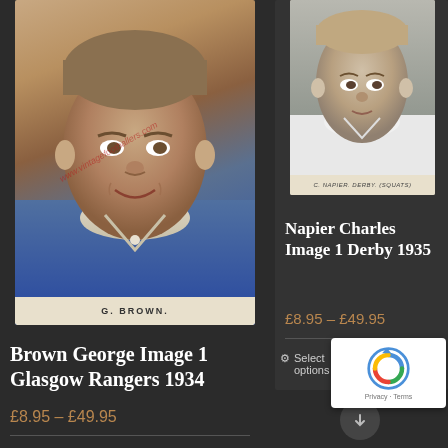[Figure (photo): Vintage football cigarette card photo of G. Brown in blue shirt with watermark www.vintagefootballers.com]
G. BROWN.
Brown George Image 1 Glasgow Rangers 1934
£8.95 – £49.95
[Figure (photo): Vintage football cigarette card photo of C. Napier, Derby County]
C. NAPIER. DERBY. (SQUATS)
Napier Charles Image 1 Derby 1935
£8.95 – £49.95
Select options
Details